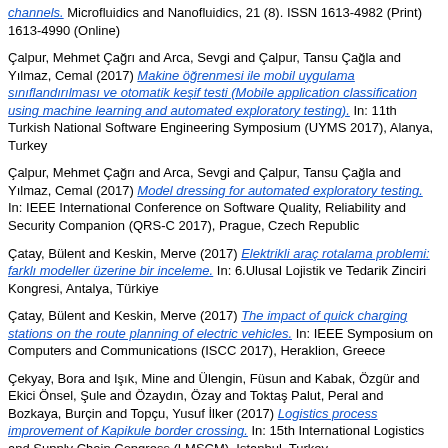channels. Microfluidics and Nanofluidics, 21 (8). ISSN 1613-4982 (Print) 1613-4990 (Online)
Çalpur, Mehmet Çağrı and Arca, Sevgi and Çalpur, Tansu Çağla and Yılmaz, Cemal (2017) Makine öğrenmesi ile mobil uygulama sınıflandırılması ve otomatik keşif testi (Mobile application classification using machine learning and automated exploratory testing). In: 11th Turkish National Software Engineering Symposium (UYMS 2017), Alanya, Turkey
Çalpur, Mehmet Çağrı and Arca, Sevgi and Çalpur, Tansu Çağla and Yılmaz, Cemal (2017) Model dressing for automated exploratory testing. In: IEEE International Conference on Software Quality, Reliability and Security Companion (QRS-C 2017), Prague, Czech Republic
Çatay, Bülent and Keskin, Merve (2017) Elektrikli araç rotalama problemi: farklı modeller üzerine bir inceleme. In: 6.Ulusal Lojistik ve Tedarik Zinciri Kongresi, Antalya, Türkiye
Çatay, Bülent and Keskin, Merve (2017) The impact of quick charging stations on the route planning of electric vehicles. In: IEEE Symposium on Computers and Communications (ISCC 2017), Heraklion, Greece
Çekyay, Bora and Işık, Mine and Ülengin, Füsun and Kabak, Özgür and Ekici Önsel, Şule and Özaydın, Özay and Toktaş Palut, Peral and Bozkaya, Burçin and Topçu, Yusuf İlker (2017) Logistics process improvement of Kapikule border crossing. In: 15th International Logistics and Supply Chain Congress (LMSCM), Istanbul, Turkey
Çelik, Ayşe Betül (2017) Gendered aspects of conflict, displacement and peace process in Turkey. International Migration, 55 (5). pp. 136-149. ISSN 0020-7985 (Print) 1468-2435 (Online)